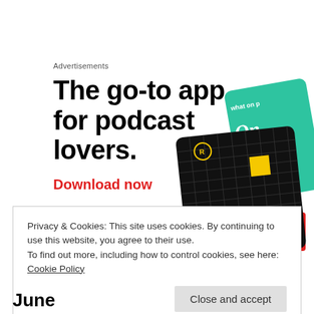Advertisements
[Figure (illustration): Advertisement for a podcast app showing the text 'The go-to app for podcast lovers.' with a 'Download now' call-to-action link in red, alongside images of podcast app cards including a '99% Invisible' show card on a black grid background and a green card labeled 'On...']
Privacy & Cookies: This site uses cookies. By continuing to use this website, you agree to their use.
To find out more, including how to control cookies, see here: Cookie Policy
Close and accept
June